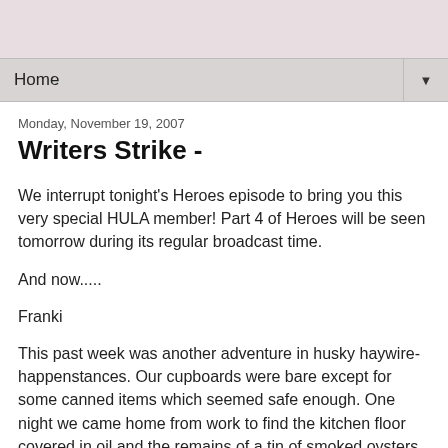Home
Monday, November 19, 2007
Writers Strike -
We interrupt tonight’s Heroes episode to bring you this very special HULA member! Part 4 of Heroes will be seen tomorrow during its regular broadcast time.
And now.....
Franki
This past week was another adventure in husky haywire-happenstances.  Our cupboards were bare except for some canned items which seemed safe enough.  One night we came home from work to find the kitchen floor covered in oil and the remains of a tin of smoked oysters lying inside Miss